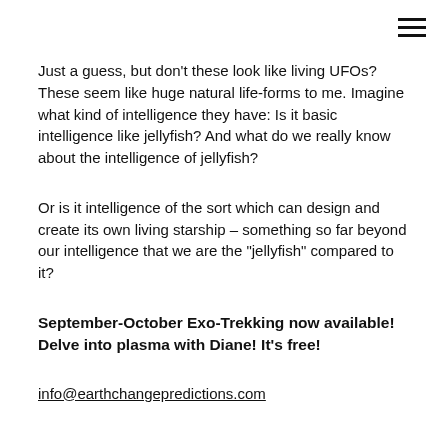Just a guess, but don't these look like living UFOs? These seem like huge natural life-forms to me. Imagine what kind of intelligence they have: Is it basic intelligence like jellyfish? And what do we really know about the intelligence of jellyfish?
Or is it intelligence of the sort which can design and create its own living starship – something so far beyond our intelligence that we are the "jellyfish" compared to it?
September-October Exo-Trekking now available! Delve into plasma with Diane! It's free!
info@earthchangepredictions.com